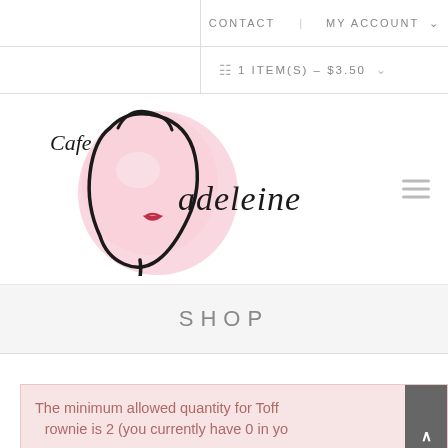CONTACT   MY ACCOUNT
1 ITEM(S) - $3.50
[Figure (logo): Cafe Madeleine logo — stylized cursive text with pink figure silhouette illustration]
SHOP
The minimum allowed quantity for Toffee Brownie is 2 (you currently have 0 in yo...